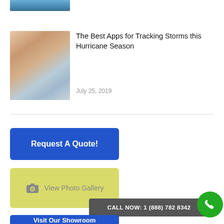[Figure (photo): Partial image of building/sky at top]
[Figure (photo): Person holding transparent screens/apps display]
The Best Apps for Tracking Storms this Hurricane Season
July 25, 2019
Request A Quote!
View Photo Gallery
CALL NOW: 1 (888) 782 8342
Visit Our Showroom